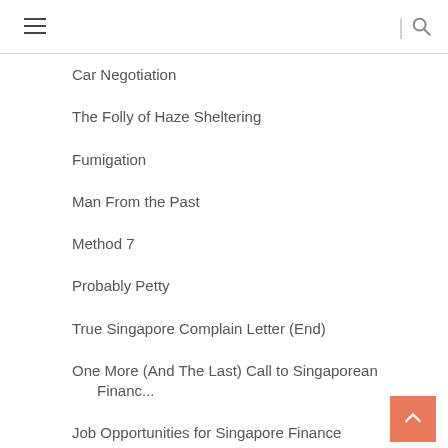Navigation menu with hamburger icon and search icon
Car Negotiation
The Folly of Haze Sheltering
Fumigation
Man From the Past
Method 7
Probably Petty
True Singapore Complain Letter (End)
One More (And The Last) Call to Singaporean Financ...
Job Opportunities for Singapore Finance Graduates
Funny Friends
Adding Up
Second Car?